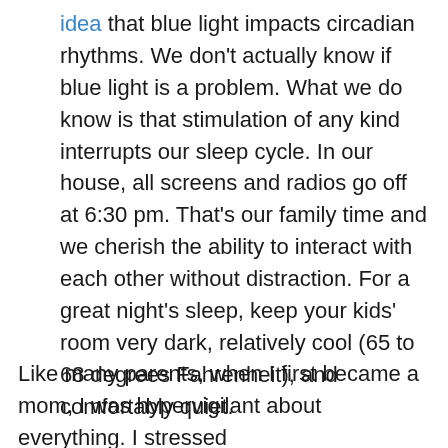idea that blue light impacts circadian rhythms. We don't actually know if blue light is a problem. What we do know is that stimulation of any kind interrupts our sleep cycle. In our house, all screens and radios go off at 6:30 pm. That's our family time and we cherish the ability to interact with each other without distraction. For a great night's sleep, keep your kids' room very dark, relatively cool (65 to 68 degrees Fahrenheit), and comfortably quiet.
Like many parents, when I first became a mom, I was hypervigilant about everything. I stressed